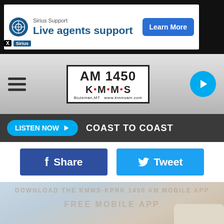[Figure (screenshot): Advertisement banner: Sirius Support — Live agents support with Learn More button]
[Figure (logo): AM 1450 KMMS radio station logo — Bozeman, MT www.kmmsam.com]
LISTEN NOW ▶   COAST TO COAST
Share
Tweet
[Figure (photo): Young woman with glasses and earphones sitting on a white sofa using a laptop. Watermark overlay: DOWNLOAD THE KMMS-KPRK 1450 AM MOBILE APP / FREE MOBILE APP]